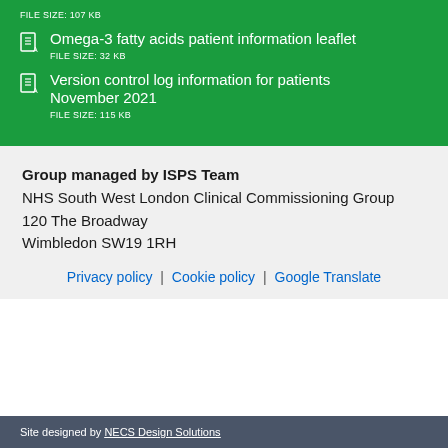FILE SIZE: 107 KB
Omega-3 fatty acids patient information leaflet
FILE SIZE: 32 KB
Version control log information for patients November 2021
FILE SIZE: 115 KB
Group managed by ISPS Team
NHS South West London Clinical Commissioning Group
120 The Broadway
Wimbledon SW19 1RH
Privacy policy | Cookie policy | Google Translate
Site designed by NECS Design Solutions